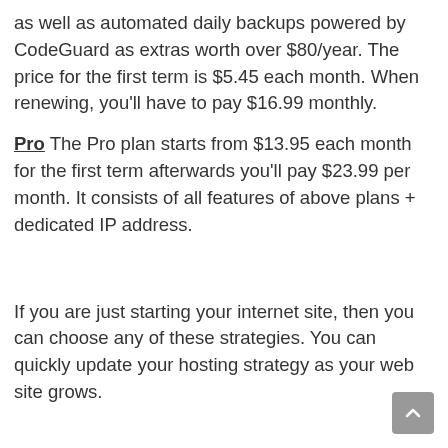as well as automated daily backups powered by CodeGuard as extras worth over $80/year. The price for the first term is $5.45 each month. When renewing, you'll have to pay $16.99 monthly.
Pro The Pro plan starts from $13.95 each month for the first term afterwards you'll pay $23.99 per month. It consists of all features of above plans + dedicated IP address.
If you are just starting your internet site, then you can choose any of these strategies. You can quickly update your hosting strategy as your web site grows.